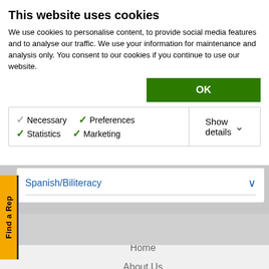This website uses cookies
We use cookies to personalise content, to provide social media features and to analyse our traffic. We use your information for maintenance and analysis only. You consent to our cookies if you continue to use our website.
OK
Necessary  Preferences  Statistics  Marketing  Show details
Spanish/Biliteracy
Find a Rep
Home
About Us
Literacy Voices
Samples
Contact Us